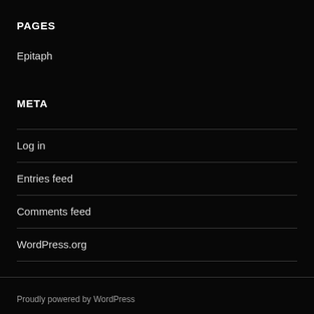PAGES
Epitaph
META
Log in
Entries feed
Comments feed
WordPress.org
Proudly powered by WordPress